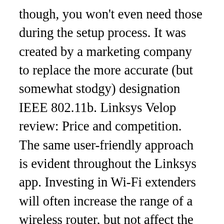though, you won't even need those during the setup process. It was created by a marketing company to replace the more accurate (but somewhat stodgy) designation IEEE 802.11b. Linksys Velop review: Price and competition. The same user-friendly approach is evident throughout the Linksys app. Investing in Wi-Fi extenders will often increase the range of a wireless router, but not affect the processing speed. Let's take a look at which one is better for your home. on each node when connected to it. In our analysis of 23 expert reviews, the Linksys Linksys Velop AC2200 placed 9th when we looked at the top 12 products in ... Unfortunately though, on first test, more nodes didn't particularly improve performance